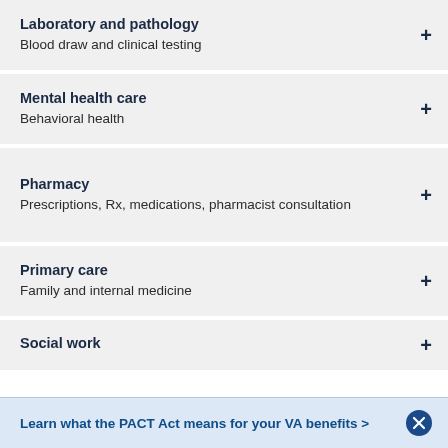Laboratory and pathology
Blood draw and clinical testing
Mental health care
Behavioral health
Pharmacy
Prescriptions, Rx, medications, pharmacist consultation
Primary care
Family and internal medicine
Social work
Learn what the PACT Act means for your VA benefits >